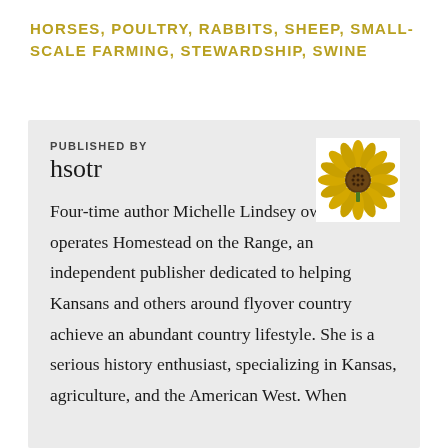HORSES, POULTRY, RABBITS, SHEEP, SMALL-SCALE FARMING, STEWARDSHIP, SWINE
PUBLISHED BY
hsotr
[Figure (illustration): A sunflower illustration on a white square background]
Four-time author Michelle Lindsey owns and operates Homestead on the Range, an independent publisher dedicated to helping Kansans and others around flyover country achieve an abundant country lifestyle. She is a serious history enthusiast, specializing in Kansas, agriculture, and the American West. When